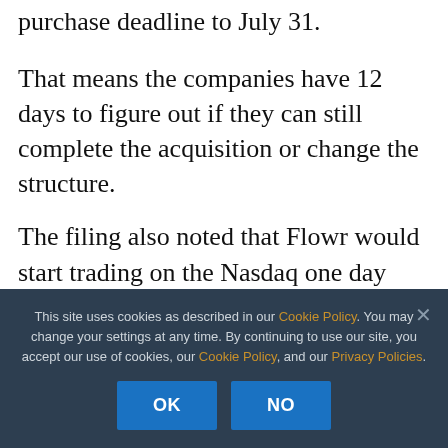purchase deadline to July 31.
That means the companies have 12 days to figure out if they can still complete the acquisition or change the structure.
The filing also noted that Flowr would start trading on the Nasdaq one day after pricing the offering; so, with no offering, the listing is up in the air as well.
This site uses cookies as described in our Cookie Policy. You may change your settings at any time. By continuing to use our site, you accept our use of cookies, our Cookie Policy, and our Privacy Policies.